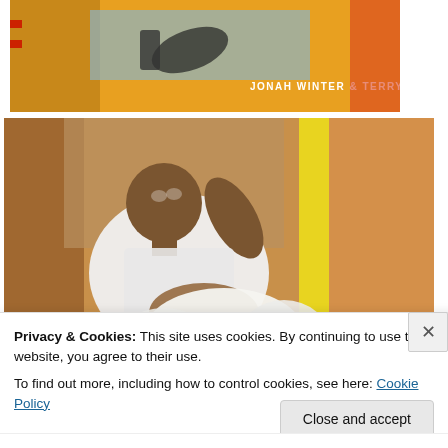[Figure (illustration): Top portion of a book cover showing illustrated figures with text 'JONAH WINTER & TERRY WIDENER' on an orange/yellow background]
[Figure (illustration): Painting-style illustration of a young man in a white baseball jersey leaning against a warm-toned wall, holding what appears to be a white dog or animal]
Privacy & Cookies: This site uses cookies. By continuing to use this website, you agree to their use.
To find out more, including how to control cookies, see here: Cookie Policy
Close and accept